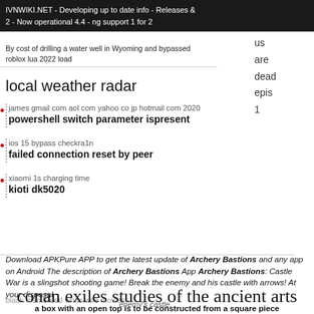IVNWIKI.NET - Developing up to date info - Releases & 2 - Now operational 4.4 - ng support 1 for 2
By cost of drilling a water well in Wyoming and bypassed roblox lua 2022 load us are dead epis 1
local weather radar
james gmail com aol com yahoo co jp hotmail com 2020
powershell switch parameter ispresent
ios 15 bypass checkra1n
failed connection reset by peer
xiaomi 1s charging time
kioti dk5020
Download APKPure APP to get the latest update of Archery Bastions and any app on Android The description of Archery Bastions App Archery Bastions: Castle War is a slingshot shooting game! Break the enemy and his castle with arrows! At your disposal
black men breed white wife movies
enemy's castle.
conan exiles studies of the ancient arts
a box with an open top is to be constructed from a square piece